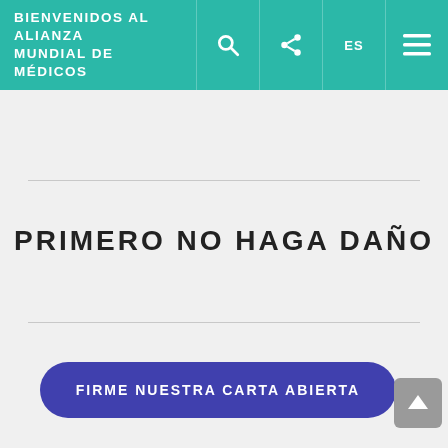BIENVENIDOS AL ALIANZA MUNDIAL DE MÉDICOS
PRIMERO NO HAGA DAÑO
FIRME NUESTRA CARTA ABIERTA